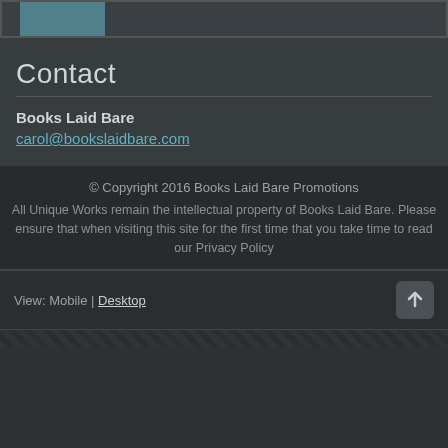[Figure (screenshot): Top portion of a website screenshot showing a partial image strip]
Contact
Books Laid Bare
carol@bookslaidbare.com
© Copyright 2016 Books Laid Bare Promotions
All Unique Works remain the intellectual property of Books Laid Bare. Please ensure that when visiting this site for the first time that you take time to read our Privacy Policy
View: Mobile | Desktop